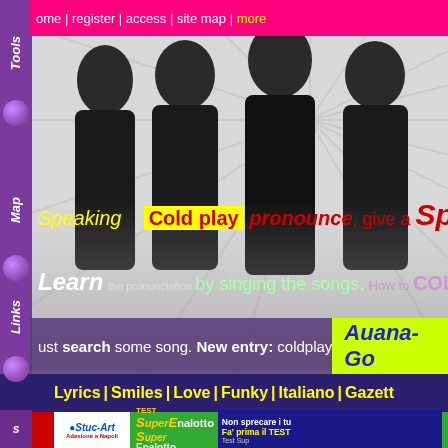home | register | access | site map | more
[Figure (photo): Photo of Coldplay band members (4 men in dark clothing) against a starburst/ray background]
Speaking  Cold play  pronounce, give a Spee
Learn the pronunciation by singing the songs. How to COLD soc...
Just search some song. New entry: coldplay   Auana-Go
Lyrics | Smiles | Love | Funky | Italiano | Gazette
[Figure (advertisement): Guitar Dance Music Songs logo and Stuc-Art logo with Adesione a Napoli link]
[Figure (advertisement): TEST SuperEnalotto - Non sprecare i tu... Fa' prima il TEST. Test Sup...]